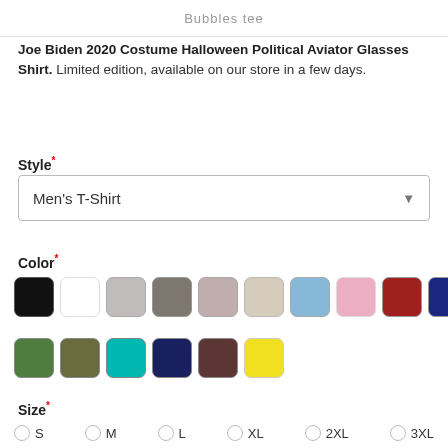Bubbles Tee
Joe Biden 2020 Costume Halloween Political Aviator Glasses Shirt. Limited edition, available on our store in a few days.
Style*
Men's T-Shirt
Color*
[Figure (other): Color swatches: black, white, light gray, dark gray, mauve/rose, beige/cream, light blue, pink, red, navy blue, green, olive green, dark olive, teal/cyan, dark navy, dark brown/maroon, yellow]
Size*
S
M
L
XL
2XL
3XL